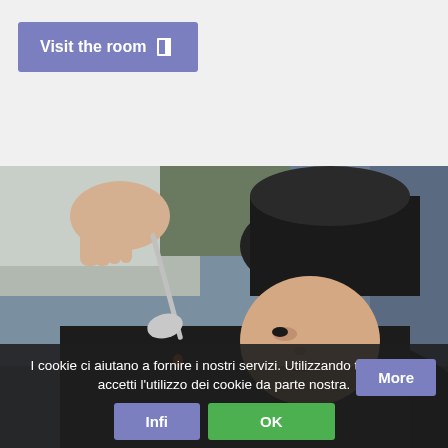[Figure (other): A purple/blue button labeled 'Visit the room' with a door icon, on a light gray background]
[Figure (photo): A female chef wearing a black chef's hat and black uniform, carefully drizzling sauce from a spoon onto a dish]
I cookie ci aiutano a fornire i nostri servizi. Utilizzando tali servizi, accetti l'utilizzo dei cookie da parte nostra.
More
Infi
OK